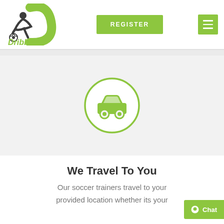[Figure (logo): Dribbler soccer logo with player silhouette kicking a ball and green D letter, with text 'Dribbler' below in green]
[Figure (other): Green REGISTER button and green hamburger menu icon in header]
[Figure (other): Car icon inside a green circle outline on light gray background]
We Travel To You
Our soccer trainers travel to your provided location whether its your
[Figure (other): Green Chat button with speech bubble icon in bottom right corner]